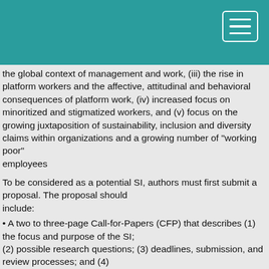the global context of management and work, (iii) the rise in platform workers and the affective, attitudinal and behavioral consequences of platform work, (iv) increased focus on minoritized and stigmatized workers, and (v) focus on the growing juxtaposition of sustainability, inclusion and diversity claims within organizations and a growing number of "working poor" employees
To be considered as a potential SI, authors must first submit a proposal. The proposal should include:
• A two to three-page Call-for-Papers (CFP) that describes (1) the focus and purpose of the SI; (2) possible research questions; (3) deadlines, submission, and review processes; and (4) contact information for the SI Editors.
• A list of individuals the SI proposal authors intend to invite to serve as reviewers; with SIs it is the responsibility of the SI editors to assign reviewers to papers.
• A plan for promoting the SI (e.g., distributing the CFP through relevant